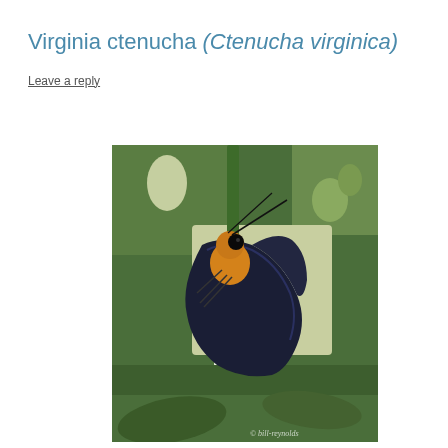Virginia ctenucha (Ctenucha virginica)
Leave a reply
[Figure (photo): Close-up photograph of a Virginia ctenucha moth (Ctenucha virginica) feeding on white flowers (clematis or similar). The moth has dark/black wings, an orange-yellow head and thorax, and a large dark eye. The background is lush green foliage. A watermark reads '© bill-reynolds' in the lower right corner.]